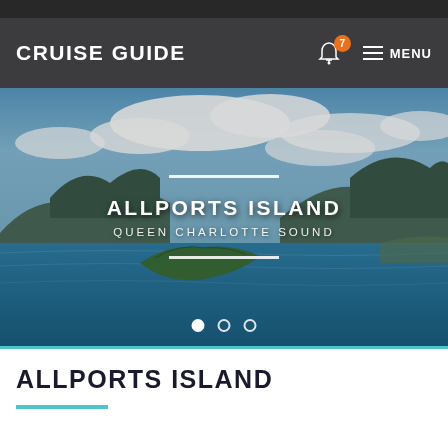CRUISE GUIDE
[Figure (photo): Aerial photo of Allports Island in Queen Charlotte Sound, New Zealand, showing a green forested island surrounded by deep blue water with mountains and cloudy sky in the background.]
ALLPORTS ISLAND
QUEEN CHARLOTTE SOUND